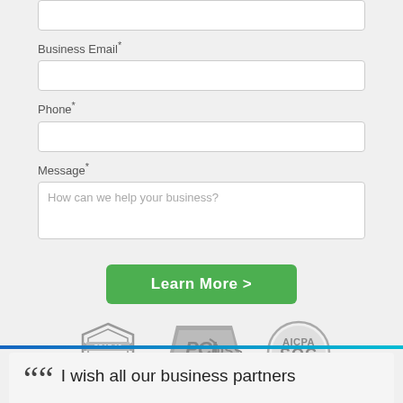Business Email*
Phone*
Message*
How can we help your business?
Learn More >
[Figure (logo): SSAE 18 Certified badge, PCI DSS Compliant badge, AICPA SOC badge - all in grey]
“”  I wish all our business partners